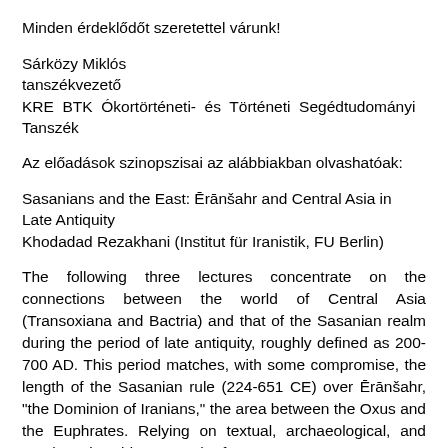Minden érdeklődőt szeretettel várunk!
Sárközy Miklós
tanszékvezető
KRE BTK Ókortörténeti- és Történeti Segédtudományi Tanszék
Az előadások szinopszisai az alábbiakban olvashatóak:
Sasanians and the East: Ērānšahr and Central Asia in Late Antiquity
Khodadad Rezakhani (Institut für Iranistik, FU Berlin)
The following three lectures concentrate on the connections between the world of Central Asia (Transoxiana and Bactria) and that of the Sasanian realm during the period of late antiquity, roughly defined as 200-700 AD. This period matches, with some compromise, the length of the Sasanian rule (224-651 CE) over Ērānšahr, "the Dominion of Iranians," the area between the Oxus and the Euphrates. Relying on textual, archaeological, and numismatic evidence, each of